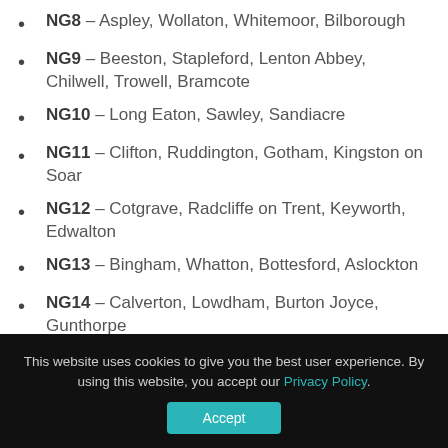NG8 – Aspley, Wollaton, Whitemoor, Bilborough
NG9 – Beeston, Stapleford, Lenton Abbey, Chilwell, Trowell, Bramcote
NG10 – Long Eaton, Sawley, Sandiacre
NG11 – Clifton, Ruddington, Gotham, Kingston on Soar
NG12 – Cotgrave, Radcliffe on Trent, Keyworth, Edwalton
NG13 – Bingham, Whatton, Bottesford, Aslockton
NG14 – Calverton, Lowdham, Burton Joyce, Gunthorpe
NG15 – Hucknall, Ravenshead, Newstead
This website uses cookies to give you the best user experience. By using this website, you accept our Privacy Policy.